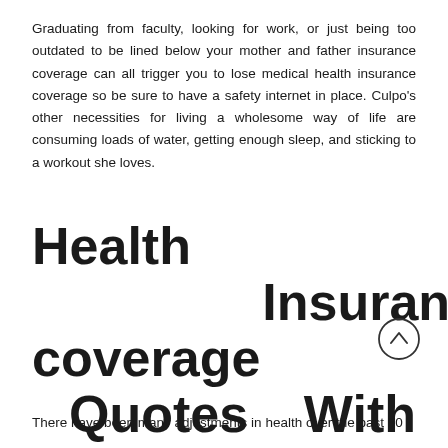Graduating from faculty, looking for work, or just being too outdated to be lined below your mother and father insurance coverage can all trigger you to lose medical health insurance coverage so be sure to have a safety internet in place. Culpo's other necessities for living a wholesome way of life are consuming loads of water, getting enough sleep, and sticking to a workout she loves.
Health Insurance coverage Quotes Without Giving Your Telephone Quantity
There have been many adjustments in health over the past 30